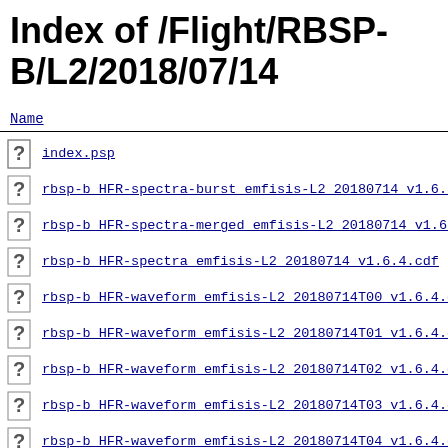Index of /Flight/RBSP-B/L2/2018/07/14
| Name |
| --- |
| index.psp |
| rbsp-b HFR-spectra-burst emfisis-L2 20180714 v1.6.5.c |
| rbsp-b HFR-spectra-merged emfisis-L2 20180714 v1.6.4. |
| rbsp-b HFR-spectra emfisis-L2 20180714 v1.6.4.cdf |
| rbsp-b HFR-waveform emfisis-L2 20180714T00 v1.6.4.cdf |
| rbsp-b HFR-waveform emfisis-L2 20180714T01 v1.6.4.cdf |
| rbsp-b HFR-waveform emfisis-L2 20180714T02 v1.6.4.cdf |
| rbsp-b HFR-waveform emfisis-L2 20180714T03 v1.6.4.cdf |
| rbsp-b HFR-waveform emfisis-L2 20180714T04 v1.6.4.cdf |
| rbsp-b HFR-waveform emfisis-L2 20180714T05 v1.6.4.cdf |
| rbsp-b HFR-waveform emfisis-L2 20180714T06 v1.6.4.cdf |
| rbsp-b HFR-waveform emfisis-L2 20180714T07 v1.6.4.cdf |